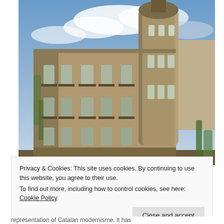[Figure (photo): HDR photograph of an ornate early 20th century building with a cylindrical corner tower, decorative ironwork balconies, arched windows, and climbing vines. Blue cloudy sky in background.]
Privacy & Cookies: This site uses cookies. By continuing to use this website, you agree to their use.
To find out more, including how to control cookies, see here: Cookie Policy
Close and accept
representation of Catalan modernisme. It has...